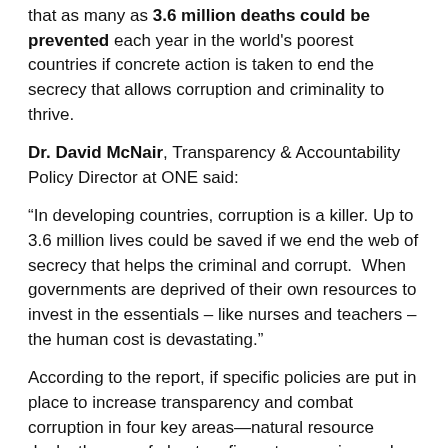that as many as 3.6 million deaths could be prevented each year in the world's poorest countries if concrete action is taken to end the secrecy that allows corruption and criminality to thrive.
Dr. David McNair, Transparency & Accountability Policy Director at ONE said:
“In developing countries, corruption is a killer. Up to 3.6 million lives could be saved if we end the web of secrecy that helps the criminal and corrupt.  When governments are deprived of their own resources to invest in the essentials – like nurses and teachers – the human cost is devastating.”
According to the report, if specific policies are put in place to increase transparency and combat corruption in four key areas—natural resource deals, the use of phantom firms, tax evasion and money laundering—massive financial losses from developing countries could be significantly reduced.